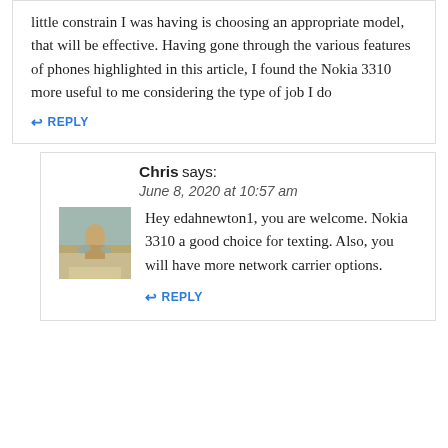little constrain I was having is choosing an appropriate model, that will be effective. Having gone through the various features of phones highlighted in this article, I found the Nokia 3310 more useful to me considering the type of job I do
REPLY
Chris says:
June 8, 2020 at 10:57 am
[Figure (photo): Avatar photo of commenter Chris showing a person on a beach]
Hey edahnewton1, you are welcome. Nokia 3310 a good choice for texting. Also, you will have more network carrier options.
REPLY